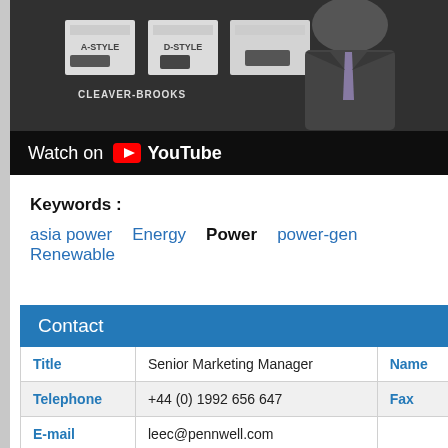[Figure (screenshot): YouTube video thumbnail showing a man in a suit and tie standing in front of a trade show booth with Cleaver-Brooks branding. A 'Watch on YouTube' overlay bar appears at the bottom.]
Keywords :
asia power   Energy   Power   power-gen   Renewable
| Title | Senior Marketing Manager | Name |
| --- | --- | --- |
| Telephone | +44 (0) 1992 656 647 | Fax |
| E-mail | leec@pennwell.com |  |
| Address |  |  |